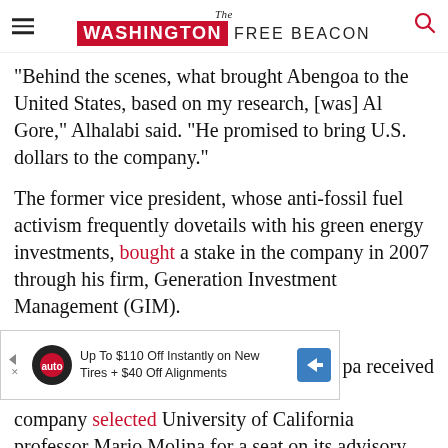The Washington Free Beacon
"Behind the scenes, what brought Abengoa to the United States, based on my research, [was] Al Gore," Alhalabi said. "He promised to bring U.S. dollars to the company."
The former vice president, whose anti-fossil fuel activism frequently dovetails with his green energy investments, bought a stake in the company in 2007 through his firm, Generation Investment Management (GIM).
[Figure (screenshot): Advertisement banner: Up To $110 Off Instantly on New Tires + $40 Off Alignments, with tire auto logo and blue arrow icon. Partially overlaps article text showing 'pa received']
company selected University of California professor Mario Molina for a seat on its advisory